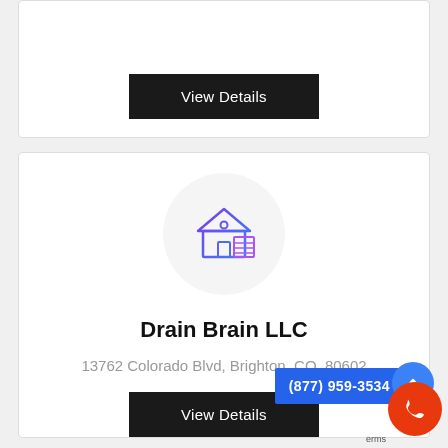[Figure (screenshot): View Details button (black) for first listing card, partially visible at top]
[Figure (illustration): House/building icon with purple-to-blue gradient inside a light gray circle]
Drain Brain LLC
13762 Colorado Blvd, Brighton, CO, 80602
[Figure (screenshot): View Details button (black) for Drain Brain LLC listing]
(877) 959-3534